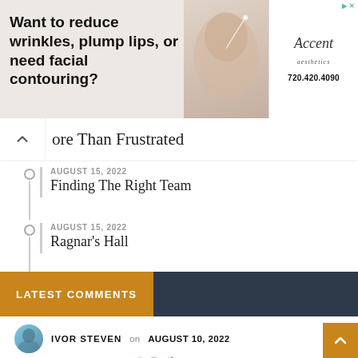[Figure (infographic): Advertisement banner: 'Want to reduce wrinkles, plump lips, or need facial contouring?' with a woman's face and Accent Aesthetics branding, phone number 720.420.4090]
ore Than Frustrated
AUGUST 15, 2022 — Finding The Right Team
AUGUST 15, 2022 — Ragnar's Hall
LATEST COMMENTS
IVOR STEVEN on AUGUST 10, 2022
Thank you Cheryl 🤗🌎💕
A Welcoming Roar